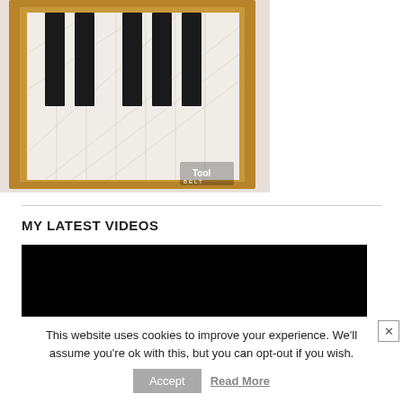[Figure (photo): A wooden framed panel art piece featuring piano keys (black and white keys) made from reclaimed wood, mounted on a light wall. The wooden frame has a natural brown stain. A watermark reading 'Tool Belt' is visible in the lower right corner of the image.]
MY LATEST VIDEOS
[Figure (screenshot): A black video player area representing an embedded video.]
This website uses cookies to improve your experience. We'll assume you're ok with this, but you can opt-out if you wish.